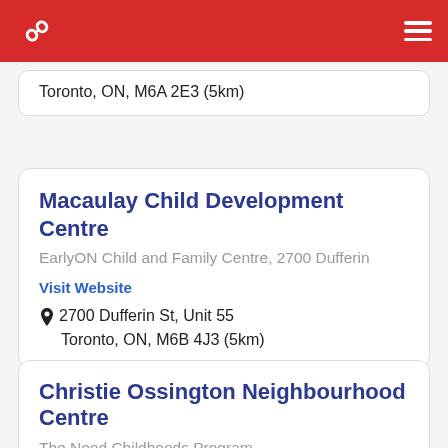Toronto, ON, M6A 2E3 (5km)
Macaulay Child Development Centre
EarlyON Child and Family Centre, 2700 Dufferin
Visit Website
2700 Dufferin St, Unit 55
Toronto, ON, M6B 4J3 (5km)
Christie Ossington Neighbourhood Centre
The Need Childhoods Program...